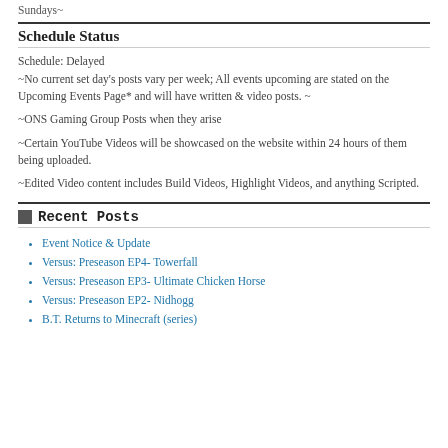Sundays~
Schedule Status
Schedule: Delayed
~No current set day's posts vary per week; All events upcoming are stated on the Upcoming Events Page* and will have written & video posts. ~
~ONS Gaming Group Posts when they arise
~Certain YouTube Videos will be showcased on the website within 24 hours of them being uploaded.
~Edited Video content includes Build Videos, Highlight Videos, and anything Scripted.
Recent Posts
Event Notice & Update
Versus: Preseason EP4- Towerfall
Versus: Preseason EP3- Ultimate Chicken Horse
Versus: Preseason EP2- Nidhogg
B.T. Returns to Minecraft (series)